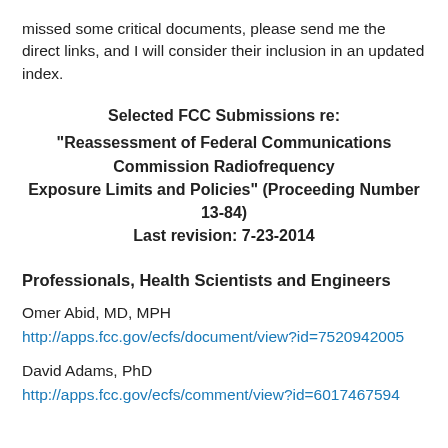missed some critical documents, please send me the direct links, and I will consider their inclusion in an updated index.
Selected FCC Submissions re: "Reassessment of Federal Communications Commission Radiofrequency Exposure Limits and Policies" (Proceeding Number 13-84) Last revision: 7-23-2014
Professionals, Health Scientists and Engineers
Omer Abid, MD, MPH
http://apps.fcc.gov/ecfs/document/view?id=7520942005
David Adams, PhD
http://apps.fcc.gov/ecfs/comment/view?id=6017467594